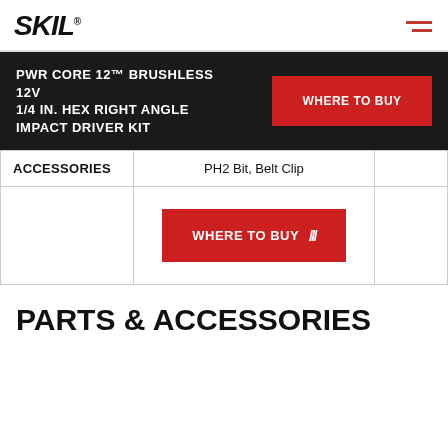SKIL® [logo] [hamburger menu]
PWR CORE 12™ BRUSHLESS 12V 1/4 IN. HEX RIGHT ANGLE IMPACT DRIVER KIT
WHERE TO BUY
| ACCESSORIES |  |  |
| --- | --- | --- |
| ACCESSORIES | PH2 Bit, Belt Clip |  |
|  | WHERE TO BUY /// |  |
PARTS & ACCESSORIES